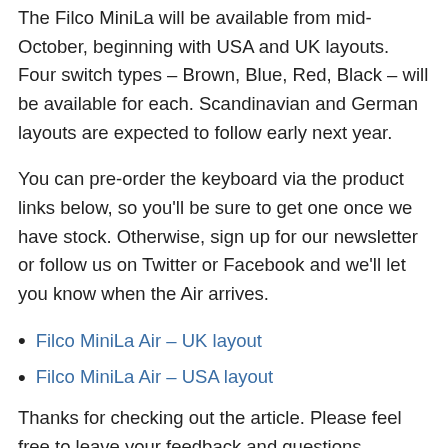The Filco MiniLa will be available from mid-October, beginning with USA and UK layouts. Four switch types – Brown, Blue, Red, Black – will be available for each. Scandinavian and German layouts are expected to follow early next year.
You can pre-order the keyboard via the product links below, so you'll be sure to get one once we have stock. Otherwise, sign up for our newsletter or follow us on Twitter or Facebook and we'll let you know when the Air arrives.
Filco MiniLa Air – UK layout
Filco MiniLa Air – USA layout
Thanks for checking out the article. Please feel free to leave your feedback and questions